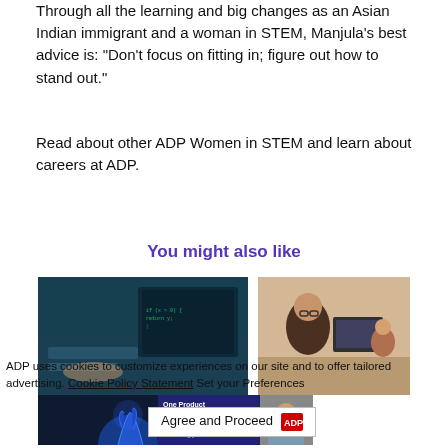Through all the learning and big changes as an Asian Indian immigrant and a woman in STEM, Manjula's best advice is: "Don't focus on fitting in; figure out how to stand out."
Read about other ADP Women in STEM and learn about careers at ADP.
You might also like
[Figure (photo): Two people working at computers with code on screens, dark teal background]
[Figure (photo): Woman with glasses working at a computer with a child nearby]
ADP uses cookies to customize experiences on our site and to offer tailored advertising. Cookie Policy Statement Set your Preferences
[Figure (photo): Robotic/digital hand illustration, blue toned]
[Figure (screenshot): Video overlay: One Product Manager's take on advancing your]
[Figure (photo): Man in checkered shirt in background]
Agree and Proceed